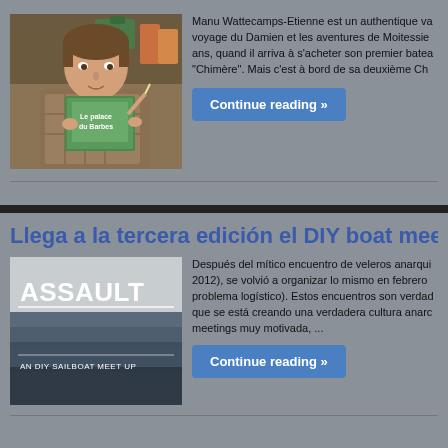[Figure (photo): Person reading a book at a desk]
Manu Wattecamps-Etienne est un authentique va voyage du Damien et les aventures de Moitessie ans, quand il arriva à s'acheter son premier batea "Chimère". Mais c'est à bord de sa deuxième Ch
Continue reading »
Llega a la tercera edición el DIY boat meetin
[Figure (photo): ASSAULT - AN DIY SAILBOAT MEET UP book cover with stormy sky background]
Después del mítico encuentro de veleros anarqui 2012), se volvió a organizar lo mismo en febrero problema logístico). Estos encuentros son verdad que se está creando una verdadera cultura anarc meetings muy motivada,  ...
Continue reading »